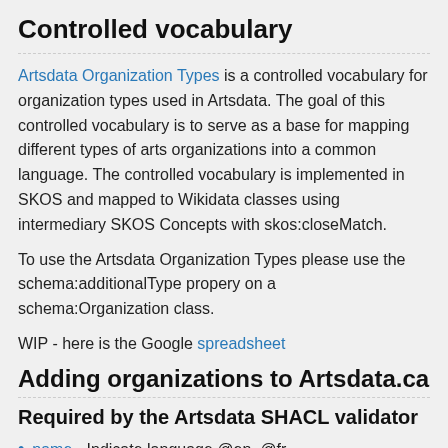Controlled vocabulary
Artsdata Organization Types is a controlled vocabulary for organization types used in Artsdata. The goal of this controlled vocabulary is to serve as a base for mapping different types of arts organizations into a common language. The controlled vocabulary is implemented in SKOS and mapped to Wikidata classes using intermediary SKOS Concepts with skos:closeMatch.
To use the Artsdata Organization Types please use the schema:additionalType propery on a schema:Organization class.
WIP - here is the Google spreadsheet
Adding organizations to Artsdata.ca
Required by the Artsdata SHACL validator
name - Indicate language @en, @fr
url - Official URL of the organization
address - Use PostalAddress